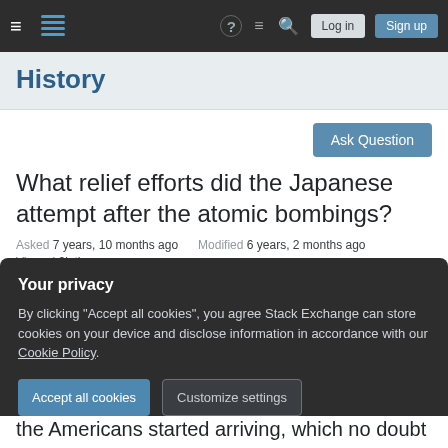History Stack Exchange navigation bar with Log in and Sign up buttons
History
Ask Question
What relief efforts did the Japanese attempt after the atomic bombings?
Asked 7 years, 10 months ago   Modified 6 years, 2 months ago
Viewed 2k times
Your privacy
By clicking "Accept all cookies", you agree Stack Exchange can store cookies on your device and disclose information in accordance with our Cookie Policy.
Accept all cookies   Customize settings
the Americans started arriving, which no doubt